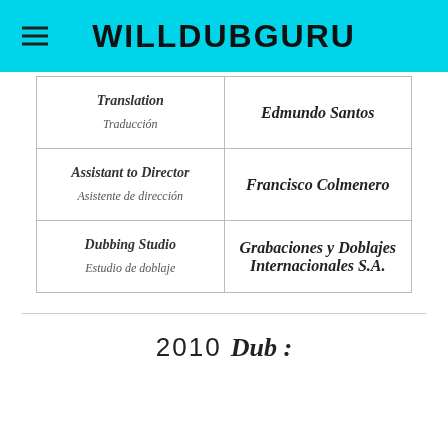WILLDUBGURU
| Role | Person/Studio |
| --- | --- |
| Translation / Traducción | Edmundo Santos |
| Assistant to Director / Asistente de dirección | Francisco Colmenero |
| Dubbing Studio / Estudio de doblaje | Grabaciones y Doblajes Internacionales S.A. |
2010 Dub :